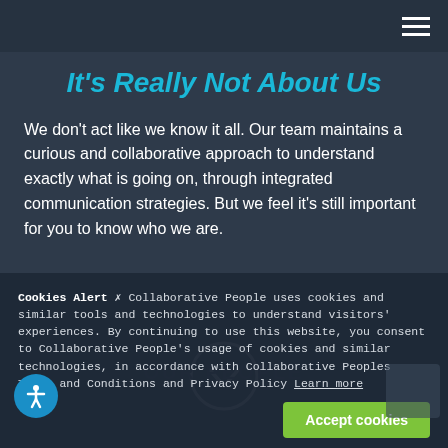Navigation bar with hamburger menu
It's Really Not About Us
We don't act like we know it all. Our team maintains a curious and collaborative approach to understand exactly what is going on, through integrated communication strategies. But we feel it's still important for you to know who we are.
[Figure (illustration): White circle with downward chevron/arrow icon indicating scroll down]
Cookies Alert – Collaborative People uses cookies and similar tools and technologies to understand visitors' experiences. By continuing to use this website, you consent to Collaborative People's usage of cookies and similar technologies, in accordance with Collaborative Peoples Terms and Conditions and Privacy Policy Learn more
Accept cookies